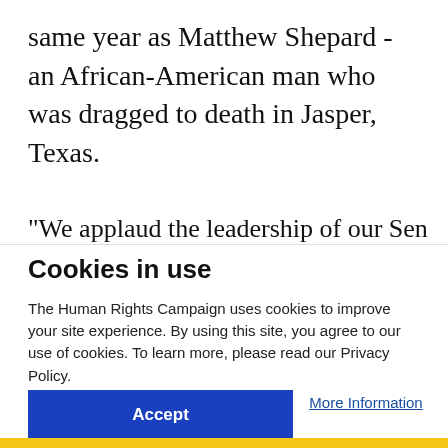same year as Matthew Shepard - an African-American man who was dragged to death in Jasper, Texas.
"We applaud the leadership of our Senate allies
Cookies in use
The Human Rights Campaign uses cookies to improve your site experience. By using this site, you agree to our use of cookies. To learn more, please read our Privacy Policy.
Accept
More Information